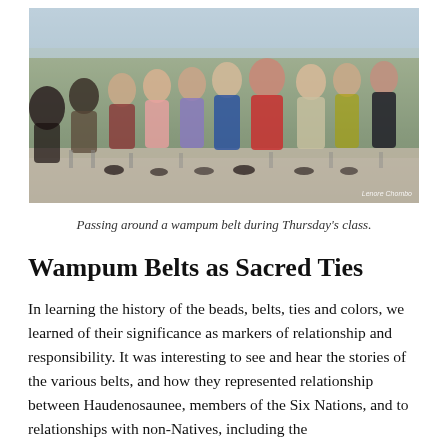[Figure (photo): A group of people sitting in chairs arranged in a circle or arc in a room with large windows, passing around a wampum belt during a class session.]
Passing around a wampum belt during Thursday’s class.
Wampum Belts as Sacred Ties
In learning the history of the beads, belts, ties and colors, we learned of their significance as markers of relationship and responsibility. It was interesting to see and hear the stories of the various belts, and how they represented relationship between Haudenosaunee, members of the Six Nations, and to relationships with non-Natives, including the